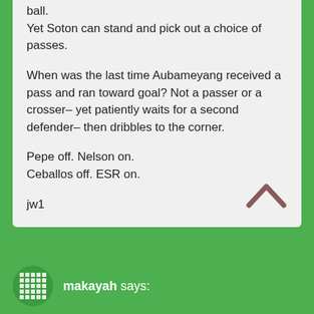ball.
Yet Soton can stand and pick out a choice of passes.

When was the last time Aubameyang received a pass and ran toward goal? Not a passer or a crosser– yet patiently waits for a second defender– then dribbles to the corner.

Pepe off. Nelson on.
Ceballos off. ESR on.

jw1
makayah says: